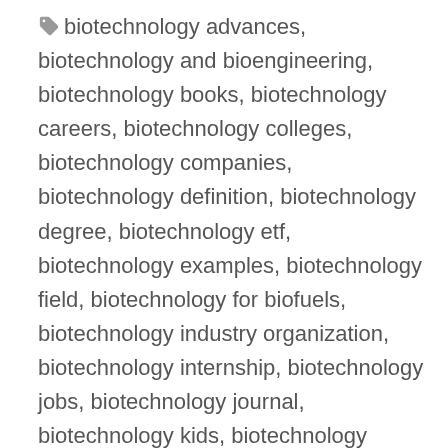🏷 biotechnology advances, biotechnology and bioengineering, biotechnology books, biotechnology careers, biotechnology colleges, biotechnology companies, biotechnology definition, biotechnology degree, biotechnology etf, biotechnology examples, biotechnology field, biotechnology for biofuels, biotechnology industry organization, biotechnology internship, biotechnology jobs, biotechnology journal, biotechnology kids, biotechnology major, biotechnology meaning, biotechnology news, biotechnology salary, biotechnology synonym, Resolving the formidable barrier of oxygen transferring rate (OTR) in ultrahigh-titer bioconversion/biocatalysis by a sealed-oxygen